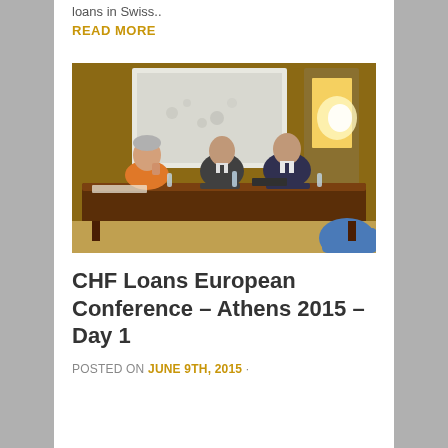loans in Swiss..
READ MORE
[Figure (photo): Panel of three people seated at a conference table in a formal room with a projection screen behind them. One person in an orange shirt on the left, two men in suits in the center and right. Water bottles on the table.]
CHF Loans European Conference – Athens 2015 – Day 1
POSTED ON JUNE 9TH, 2015 ·